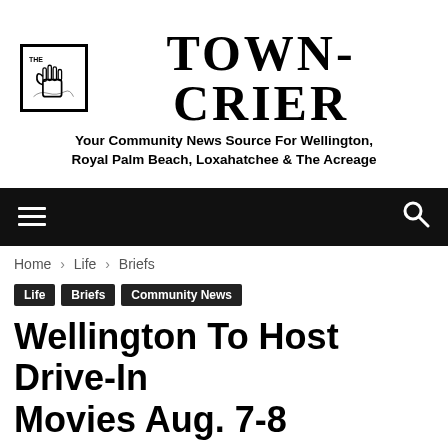[Figure (logo): The Town-Crier newspaper logo with hand icon and tagline: Your Community News Source For Wellington, Royal Palm Beach, Loxahatchee & The Acreage]
Home › Life › Briefs
Life | Briefs | Community News
Wellington To Host Drive-In Movies Aug. 7-8
By Town-Crier Editor - July 29, 2020